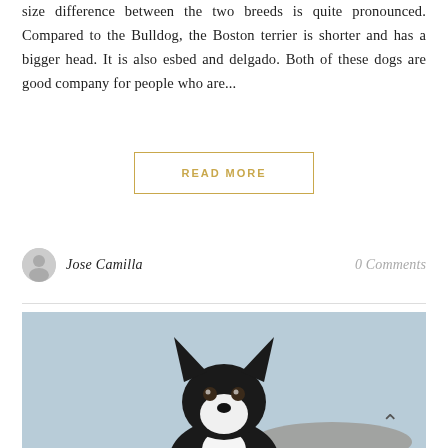size difference between the two breeds is quite pronounced. Compared to the Bulldog, the Boston terrier is shorter and has a bigger head. It is also esbed and delgado. Both of these dogs are good company for people who are...
READ MORE
Jose Camilla
0 Comments
[Figure (photo): A black and white Boston Terrier dog photographed against a light blue background, facing the camera with large upright ears.]